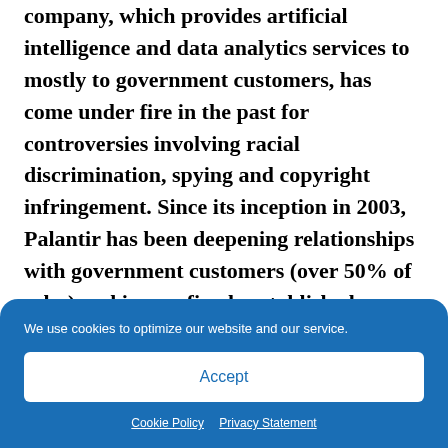company, which provides artificial intelligence and data analytics services to mostly to government customers, has come under fire in the past for controversies involving racial discrimination, spying and copyright infringement. Since its inception in 2003, Palantir has been deepening relationships with government customers (over 50% of sales) and is now firmly established as a cornerstone
We use cookies to optimize our website and our service.
Accept
Cookie Policy  Privacy Statement